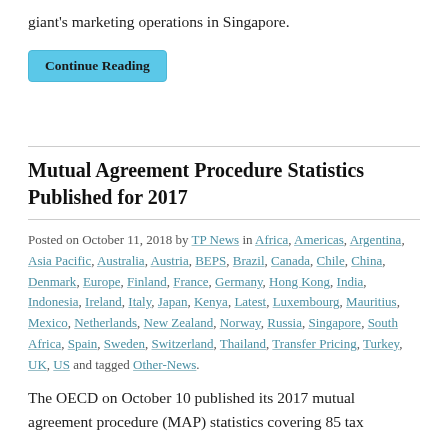giant's marketing operations in Singapore.
Continue Reading
Mutual Agreement Procedure Statistics Published for 2017
Posted on October 11, 2018 by TP News in Africa, Americas, Argentina, Asia Pacific, Australia, Austria, BEPS, Brazil, Canada, Chile, China, Denmark, Europe, Finland, France, Germany, Hong Kong, India, Indonesia, Ireland, Italy, Japan, Kenya, Latest, Luxembourg, Mauritius, Mexico, Netherlands, New Zealand, Norway, Russia, Singapore, South Africa, Spain, Sweden, Switzerland, Thailand, Transfer Pricing, Turkey, UK, US and tagged Other-News.
The OECD on October 10 published its 2017 mutual agreement procedure (MAP) statistics covering 85 tax